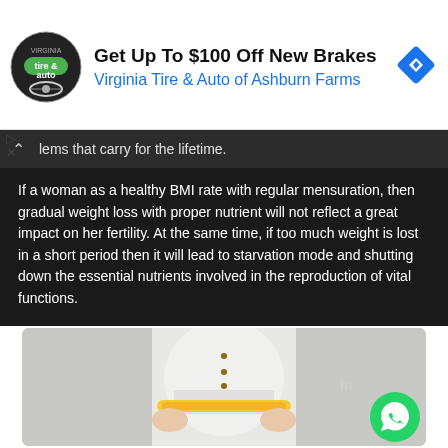[Figure (other): Advertisement banner: Virginia Tire & Auto of Ashburn Farms. Get Up To $100 Off New Brakes. Circular logo with tire and handshake icon. Blue diamond navigation icon on right.]
lems that carry for the lifetime.
If a woman as a healthy BMI rate with regular mensuration, then gradual weight loss with proper nutrient will not reflect a great impact on her fertility. At the same time, if too much weight is lost in a short period then it will lead to starvation mode and shutting down the essential nutrients involved in the reproduction of vital functions.
[Figure (photo): Photo of a woman in a white lace dress measuring her waist with a yellow measuring tape. WhatsApp button visible in bottom-right corner. Partially visible text 'In' in image area.]